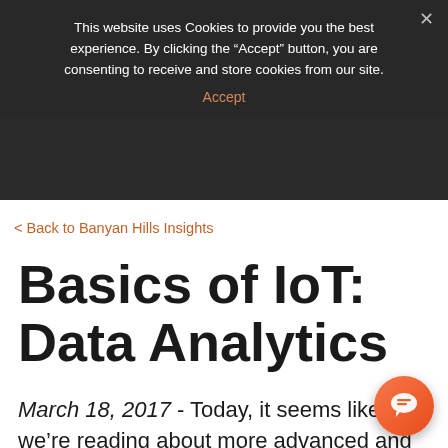This website uses Cookies to provide you the best experience. By clicking the “Accept” button, you are consenting to receive and store cookies from our site.
Accept
Back to Banyan Hills Insights
Basics of IoT: Data Analytics
March 18, 2017 - Today, it seems like we’re reading about more advanced and intelligent kiosk implementations across every industry. Whether it is in healthcare with the medication disposal kiosks, Walgreens introduced last in 14 locations across Indiana, or it’s the new